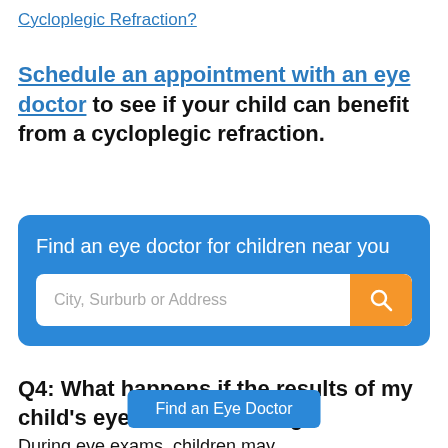Cycloplegic Refraction?
Schedule an appointment with an eye doctor to see if your child can benefit from a cycloplegic refraction.
[Figure (infographic): Blue rounded box with title 'Find an eye doctor for children near you' and a search bar with placeholder 'City, Surburb or Address' and an orange search button with magnifying glass icon.]
Q4: What happens if the results of my child's eye exam are wrong?
During eye exams, children may
Find an Eye Doctor